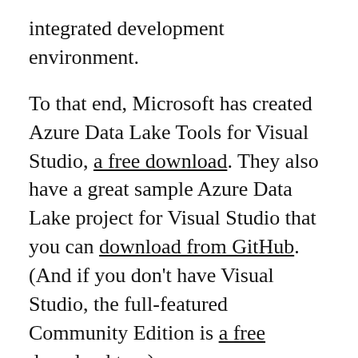integrated development environment.
To that end, Microsoft has created Azure Data Lake Tools for Visual Studio, a free download. They also have a great sample Azure Data Lake project for Visual Studio that you can download from GitHub. (And if you don't have Visual Studio, the full-featured Community Edition is a free download too.)
Do all that, bring up the project, log in to your ADLA tenant, open up the first script and click its Submit button. The job will run right in Visual Studio, as shown here.
When job execution is complete, right click the job